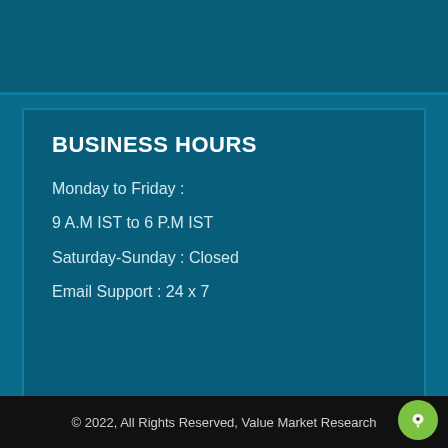BUSINESS HOURS
Monday to Friday :
9 A.M IST to 6 P.M IST
Saturday-Sunday : Closed
Email Support : 24 x 7
© 2022, All Rights Reserved, Value Market Research